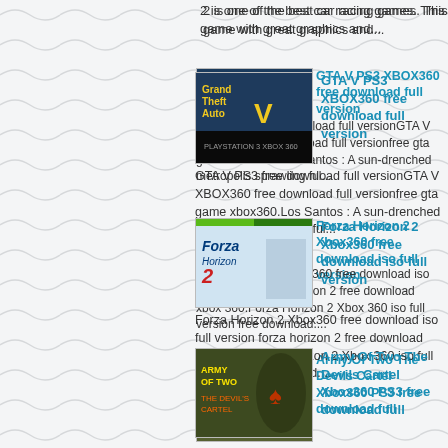2 is one of the best car racing games. This game with great graphics and...
GTA V PS3 XBOX360 free download full version
GTA V PS3 free download full versionGTA V XBOX360 free download full versionfree gta game xbox360.Los Santos : A sun-drenched metropolis sprawling ful...
Forza Horizon 2 Xbox360 free download iso full version
Forza Horizon 2 Xbox360 free download iso full version forza horizon 2 free download xbox 360.Forza Horizon 2 Xbox 360 iso full version free download....
Army Of Two The Devils Cartel Xbox360 PS3 free download full
Army Of Two The Devils Cartel Xbox360 PS3 free download full versionThe action game Army Of Two The Devil's Cartel PS3 available for download Army Of ...
LA Noire Complete Edition Xbox360 PS3 free download full version
LA Noire Complete Edition Xbox360 PS3 free download full versionLA Noire The Complete Edition XBOX360 PS3  at the height of the Golden Age of Hollywoo...